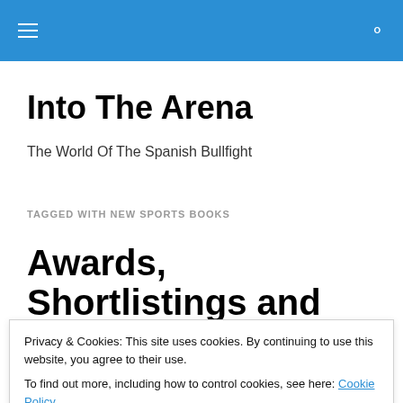Menu / Search
Into The Arena
The World Of The Spanish Bullfight
TAGGED WITH NEW SPORTS BOOKS
Awards, Shortlistings and Listings
Privacy & Cookies: This site uses cookies. By continuing to use this website, you agree to their use.
To find out more, including how to control cookies, see here: Cookie Policy
Close and accept